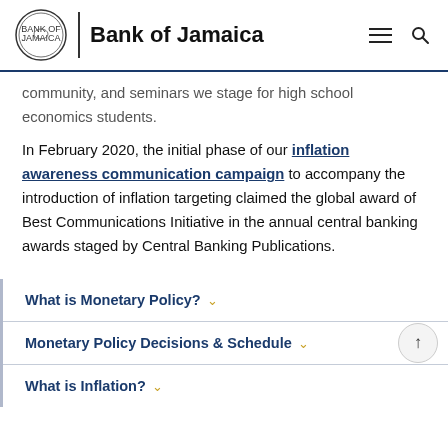Bank of Jamaica
community, and seminars we stage for high school economics students.
In February 2020, the initial phase of our inflation awareness communication campaign to accompany the introduction of inflation targeting claimed the global award of Best Communications Initiative in the annual central banking awards staged by Central Banking Publications.
What is Monetary Policy?
Monetary Policy Decisions & Schedule
What is Inflation?